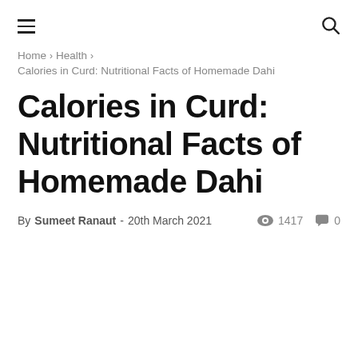≡  🔍
Home › Health › Calories in Curd: Nutritional Facts of Homemade Dahi
Calories in Curd: Nutritional Facts of Homemade Dahi
By Sumeet Ranaut - 20th March 2021  👁 1417  💬 0